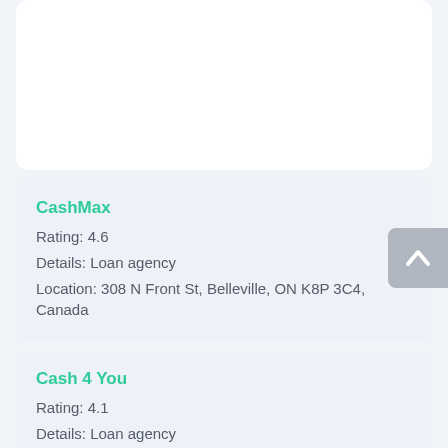[Figure (other): White card placeholder at top of page, empty content area]
CashMax
Rating: 4.6
Details: Loan agency
Location: 308 N Front St, Belleville, ON K8P 3C4, Canada
Cash 4 You
Rating: 4.1
Details: Loan agency
Location: 246 North Front St, Belleville, ON